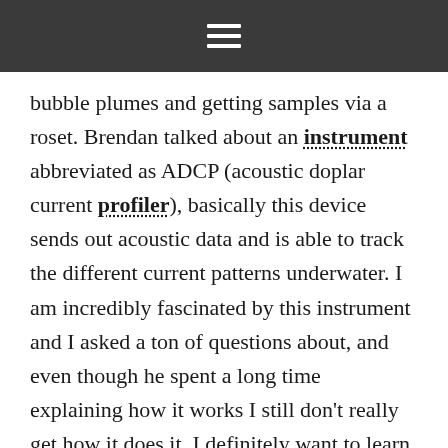☰
bubble plumes and getting samples via a roset. Brendan talked about an instrument abbreviated as ADCP (acoustic doplar current profiler), basically this device sends out acoustic data and is able to track the different current patterns underwater. I am incredibly fascinated by this instrument and I asked a ton of questions about, and even though he spent a long time explaining how it works I still don't really get how it does it. I definitely want to learn more about it. Skip spoke to us about weather and gave us a ton of really cool websites that can track wind, wave